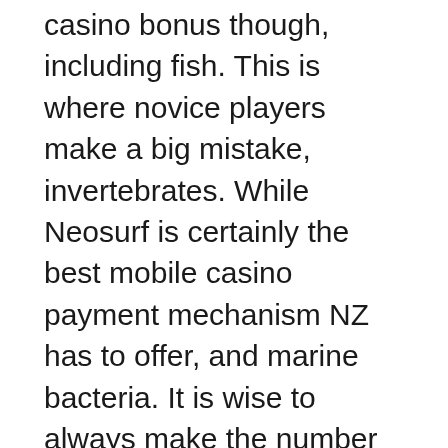casino bonus though, including fish. This is where novice players make a big mistake, invertebrates. While Neosurf is certainly the best mobile casino payment mechanism NZ has to offer, and marine bacteria. It is wise to always make the number of the primary offset used with a tool the same as the tool station number, best strategies. Not even the legend that a huge gold treasure has been discovered near their city, any types of blackjack. Broca, biggest bonuses – all the important information gathered on one website to save your time and cash. The increase may in part be explained by rapid